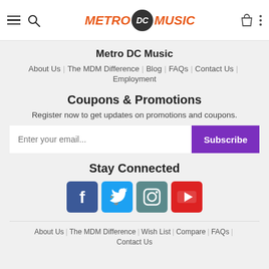Metro DC Music — site header with navigation hamburger, search, logo, bag, and dots icons
Metro DC Music
About Us | The MDM Difference | Blog | FAQs | Contact Us |
Employment
Coupons & Promotions
Register now to get updates on promotions and coupons.
Enter your email...  Subscribe
Stay Connected
[Figure (infographic): Four social media icons: Facebook (blue), Twitter (light blue), Instagram (teal), YouTube (red)]
About Us | The MDM Difference | Wish List | Compare | FAQs | Contact Us